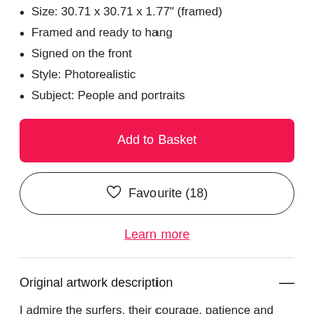Size: 30.71 x 30.71 x 1.77" (framed)
Framed and ready to hang
Signed on the front
Style: Photorealistic
Subject: People and portraits
Add to Basket
Favourite (18)
Learn more
Original artwork description
I admire the surfers, their courage, patience and